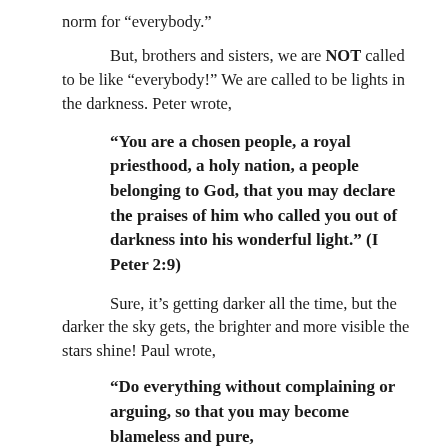norm for “everybody.”
But, brothers and sisters, we are NOT called to be like “everybody!” We are called to be lights in the darkness. Peter wrote,
“You are a chosen people, a royal priesthood, a holy nation, a people belonging to God, that you may declare the praises of him who called you out of darkness into his wonderful light.” (I Peter 2:9)
Sure, it’s getting darker all the time, but the darker the sky gets, the brighter and more visible the stars shine! Paul wrote,
“Do everything without complaining or arguing, so that you may become blameless and pure,